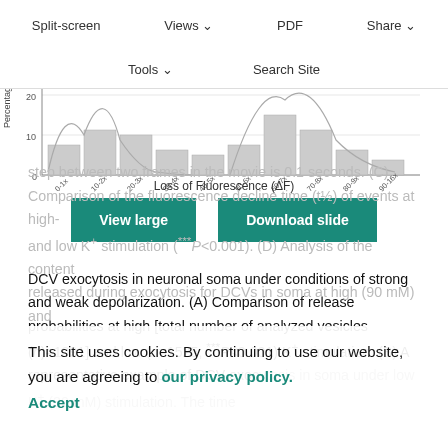[Figure (histogram): Partial histogram chart showing 'Loss of Fluorescence (ΔF)' on x-axis with bins 0-10, 10-20, 20-30, 30-40, 40-50, 50-60, 60-70, 70-80, 80-90, 90-100, and 'Percentage of' on y-axis (0, 10, 20). Multiple overlapping bar distributions visible.]
Split-screen  Views  PDF  Share  Tools  Search Site
View large
Download slide
DCV exocytosis in neuronal soma under conditions of strong and weak depolarization. (A) Comparison of release probabilities at high [total number of analyzed vesicles (n)=1091] and low (n=1525; ***P<0.001) K+ stimulation. (B) A representative example of DCV exocytosis in soma under low K+ (30 mM) stimulation. The time step between two frames in the movie is 0.1 seconds. (C) Comparison of the fluorescence decline time (t½) of events at high- and low K+ stimulation (***P<0.001). (D) Analysis of the content released during exocytosis for DCVs in soma at high (90 mM) and
This site uses cookies. By continuing to use our website, you are agreeing to our privacy policy. Accept